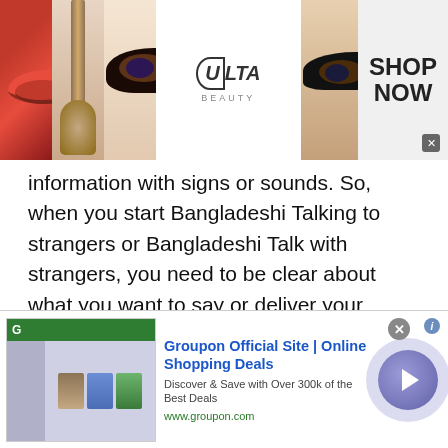[Figure (photo): Top banner advertisement for ULTA Beauty showing makeup images (lips, brush, eye) and ULTA logo with SHOP NOW call to action]
information with signs or sounds. So, when you start Bangladeshi Talking to strangers or Bangladeshi Talk with strangers, you need to be clear about what you want to say or deliver your message without creating any confusion. In simple words, your message should be clear. So, the answer to 'what is Bangladeshi Talk' ? Is quite simple. Isn't it? Yes, it is.
Let's move on to the features of Bangladeshi Talkwithstranger that give you hundreds of reasons to make your online Bangladeshi Talk easy, fun and exciting...
[Figure (screenshot): Bottom advertisement for Groupon Official Site | Online Shopping Deals. Shows Groupon logo, thumbnail of shopping deals images, text 'Discover & Save with Over 300k of the Best Deals', URL www.groupon.com, and a purple arrow button. Has close X button.]